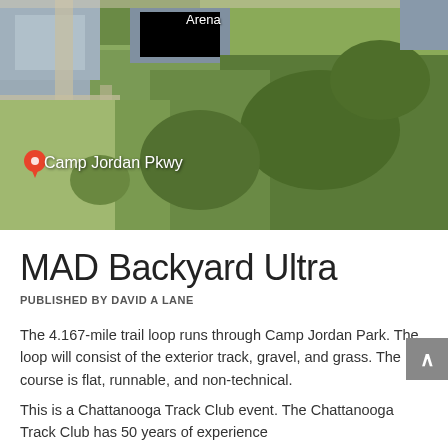[Figure (map): Aerial/satellite map view of Camp Jordan Park area showing green forested terrain, roads, and park facilities. A red location pin marks Camp Jordan Pkwy. Text labels show 'Arena' near the top and 'Camp Jordan Pkwy' near the pin.]
MAD Backyard Ultra
PUBLISHED BY DAVID A LANE
The 4.167-mile trail loop runs through Camp Jordan Park.  The loop will consist of the exterior track, gravel, and grass.  The course is flat, runnable, and non-technical.
This is a Chattanooga Track Club event.  The Chattanooga Track Club has 50 years of experience